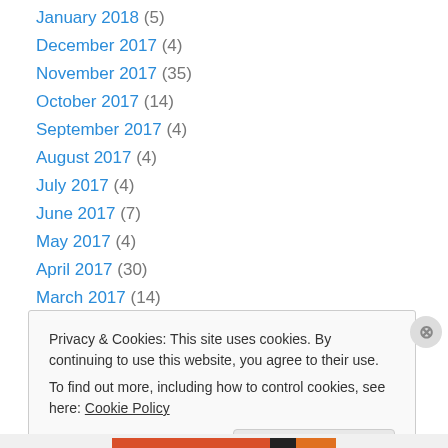January 2018 (5)
December 2017 (4)
November 2017 (35)
October 2017 (14)
September 2017 (4)
August 2017 (4)
July 2017 (4)
June 2017 (7)
May 2017 (4)
April 2017 (30)
March 2017 (14)
February 2017 (14)
January 2017 (7)
Privacy & Cookies: This site uses cookies. By continuing to use this website, you agree to their use. To find out more, including how to control cookies, see here: Cookie Policy
Close and accept